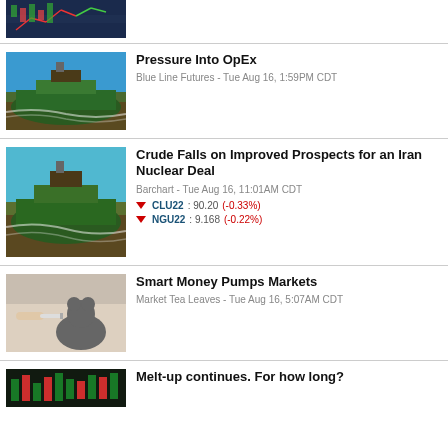[Figure (photo): Stock market chart thumbnail at top]
[Figure (photo): Oil tanker ship on water]
Pressure Into OpEx
Blue Line Futures - Tue Aug 16, 1:59PM CDT
[Figure (photo): Oil tanker ship on water (second)]
Crude Falls on Improved Prospects for an Iran Nuclear Deal
Barchart - Tue Aug 16, 11:01AM CDT
CLU22 : 90.20 (-0.33%)
NGU22 : 9.168 (-0.22%)
[Figure (photo): Bull and bear figurines, market concept]
Smart Money Pumps Markets
Market Tea Leaves - Tue Aug 16, 5:07AM CDT
[Figure (photo): Stock market screen thumbnail]
Melt-up continues. For how long?